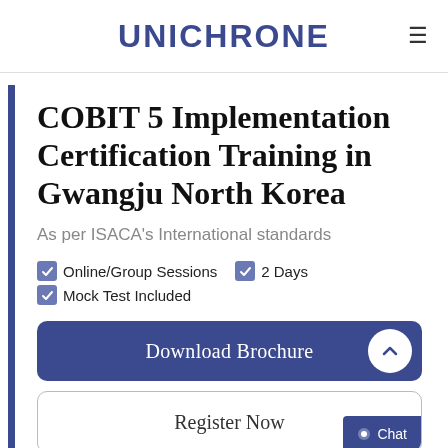UNICHRONE
COBIT 5 Implementation Certification Training in Gwangju North Korea
As per ISACA's International standards
Online/Group Sessions
2 Days
Mock Test Included
Download Brochure
Register Now